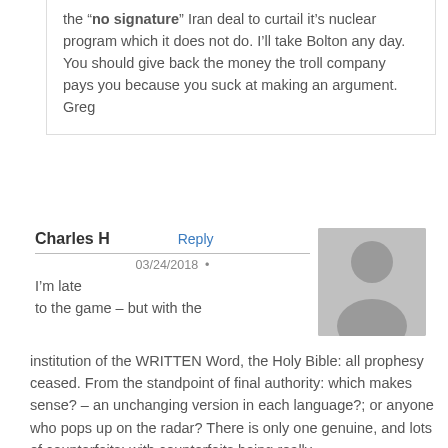the "no signature" Iran deal to curtail it's nuclear program which it does not do. I'll take Bolton any day. You should give back the money the troll company pays you because you suck at making an argument. Greg
Charles H
Reply
03/24/2018 •
I'm late to the game – but with the institution of the WRITTEN Word, the Holy Bible: all prophesy ceased. From the standpoint of final authority: which makes sense? – an unchanging version in each language?; or anyone who pops up on the radar? There is only one genuine, and lots of counterfeits; with counterfeits being really,